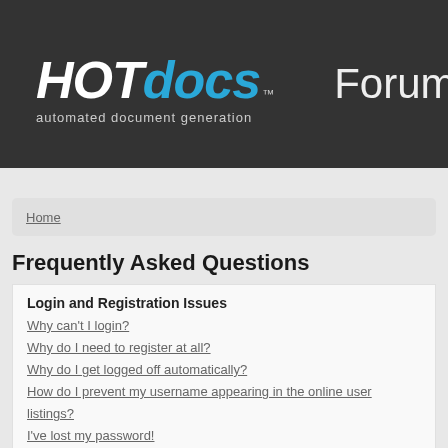[Figure (logo): HotDocs logo with 'HOT' in white italic bold, 'docs' in blue italic bold, superscript TM, tagline 'automated document generation' in grey, vertical divider line, 'Forum' text in light grey on dark background]
Home
Frequently Asked Questions
Login and Registration Issues
Why can't I login?
Why do I need to register at all?
Why do I get logged off automatically?
How do I prevent my username appearing in the online user listings?
I've lost my password!
I registered but cannot login!